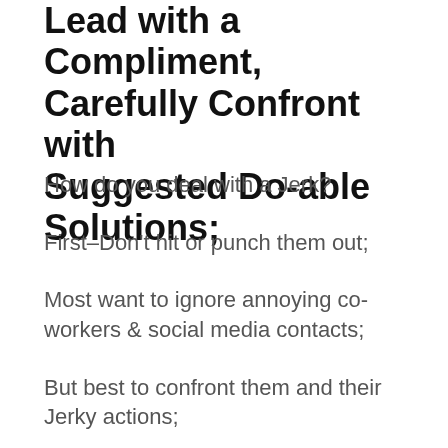Lead with a Compliment, Carefully Confront with Suggested Do-able Solutions;
How do you deal with a Jerk?
First–Don't hit or punch them out;
Most want to ignore annoying co-workers & social media contacts;
But best to confront them and their Jerky actions;
Strength in numbers so get help from friends in dealing with jerks;
Relationship science offers a better way.